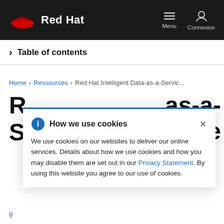Red Hat | Menu | Connexion
> Table of contents
Home > Ressources > Red Hat Intelligent Data-as-a-Servic...
R... as-a- S... ncare
How we use cookies
We use cookies on our websites to deliver our online services. Details about how we use cookies and how you may disable them are set out in our Privacy Statement. By using this website you agree to our use of cookies.